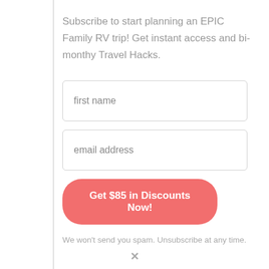Subscribe to start planning an EPIC Family RV trip! Get instant access and bi-monthy Travel Hacks.
first name
email address
Get $85 in Discounts Now!
We won't send you spam. Unsubscribe at any time.
×